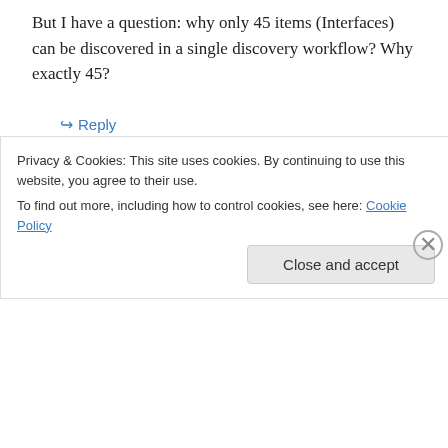But I have a question: why only 45 items (Interfaces) can be discovered in a single discovery workflow? Why exactly 45?
↪ Reply
Kristopher Bash on November 23, 2009 at 11:35 pm
I'm not sure why the limitation is there, it is something that I have discovered working
Privacy & Cookies: This site uses cookies. By continuing to use this website, you agree to their use.
To find out more, including how to control cookies, see here: Cookie Policy
Close and accept